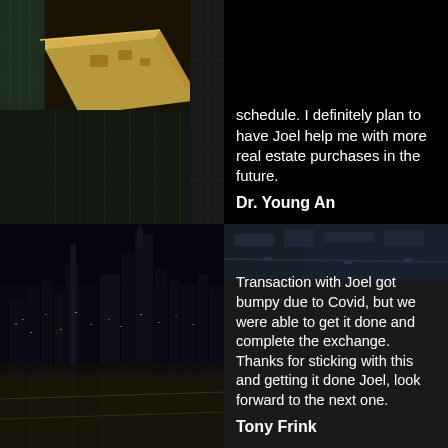[Figure (photo): Aerial view of skyscrapers including a gold/beige flat-roofed building and dark glass towers, top-down perspective, daytime]
schedule. I definitely plan to have Joel help me with more real estate purchases in the future.
Dr. Young An
[Figure (photo): Aerial night cityscape of a major city (Chicago), city lights illuminating streets and buildings, dark sky]
[Figure (photo): Aerial daytime city view, top-right corner, grey tones]
Transaction with Joel got bumpy due to Covid, but we were able to get it done and complete the exchange. Thanks for sticking with this and getting it done Joel, look forward to the next one.
Tony Frink